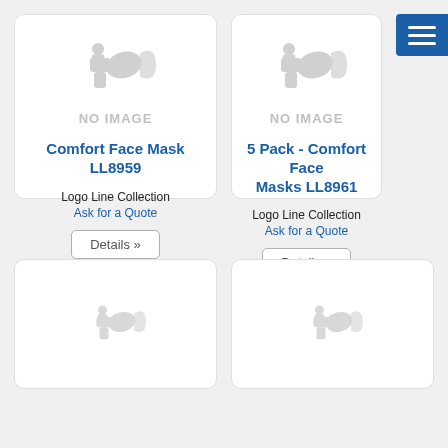[Figure (screenshot): Product card for Comfort Face Mask LL8959 with no image placeholder, Logo Line Collection, Ask for a Quote, Details button]
[Figure (screenshot): Product card for 5 Pack - Comfort Face Masks LL8961 with no image placeholder, Logo Line Collection, Ask for a Quote, Details button]
[Figure (screenshot): Partial product card bottom row left, no image placeholder visible]
[Figure (screenshot): Partial product card bottom row right, no image placeholder visible]